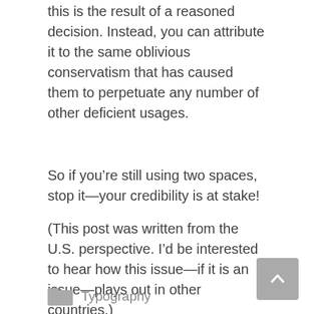this is the result of a reasoned decision. Instead, you can attribute it to the same oblivious conservatism that has caused them to perpetuate any number of other deficient usages.
So if you’re still using two spaces, stop it—your credibility is at stake!
(This post was written from the U.S. perspective. I’d be interested to hear how this issue—if it is an issue—plays out in other countries.)
Typography